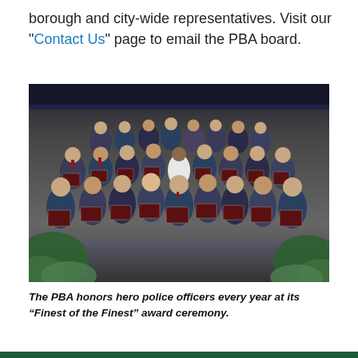borough and city-wide representatives. Visit our "Contact Us" page to email the PBA board.
[Figure (photo): Aerial/overhead group photo of approximately 30 police officers in formal suits, many holding dark wood award plaques with red trim, gathered in a room with dark ceiling beams and green plants in the corners. A woman in white dress stands near the center.]
The PBA honors hero police officers every year at its “Finest of the Finest” award ceremony.